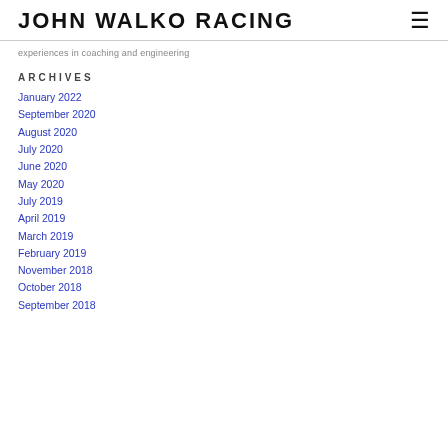JOHN WALKO RACING
experiences in coaching and engineering
ARCHIVES
January 2022
September 2020
August 2020
July 2020
June 2020
May 2020
July 2019
April 2019
March 2019
February 2019
November 2018
October 2018
September 2018